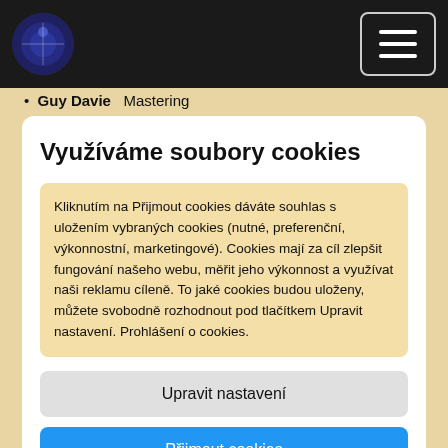Navigation bar with logo and hamburger menu
Guy Davie   Mastering
Využíváme soubory cookies
Kliknutím na Přijmout cookies dáváte souhlas s uložením vybraných cookies (nutné, preferenční, výkonnostní, marketingové). Cookies mají za cíl zlepšit fungování našeho webu, měřit jeho výkonnost a využívat naši reklamu cíleně. To jaké cookies budou uloženy, můžete svobodně rozhodnout pod tlačítkem Upravit nastavení. Prohlášení o cookies.
Upravit nastavení
Přijmout cookies
Gavin Lurssen   Mastering